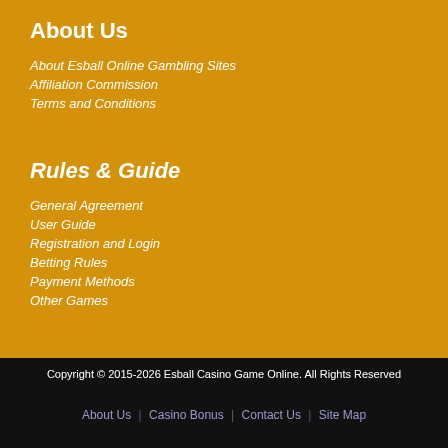About Us
About Esball Online Gambling Sites
Affiliation Commission
Terms and Conditions
Rules & Guide
General Agreement
User Guide
Registration and Login
Betting Rules
Payment Methods
Other Games
Copyright © 2015-2026 Esball Casino Game Online. All Rights Reserved
About Us | Casino Bonus | Contact Us | Site Map